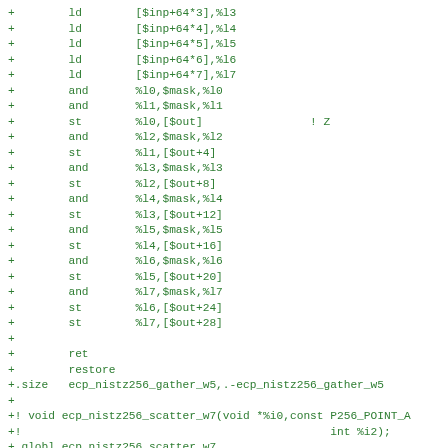Assembly code diff showing load, and, store, ret, restore, .size, function comment, .globl, .align, label, and save instructions for ecp_nistz256_gather_w5 and ecp_nistz256_scatter_w7